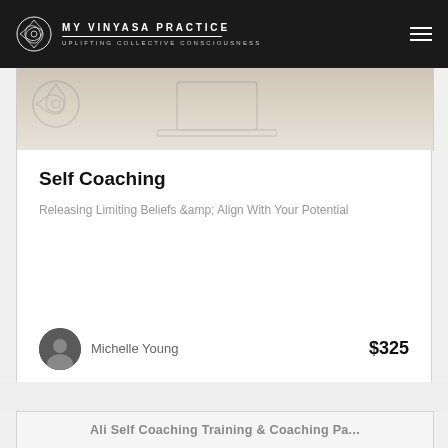MY VINYASA PRACTICE — UPLIFTING COLLECTIVE CONSCIOUSNESS
[Figure (screenshot): Top portion of a product/course card image strip showing a desk/laptop background in muted beige tones with a faint logo watermark]
Self Coaching
Releasing Limiting Beliefs &amp; Align With Your Potential
Michelle Young
$325